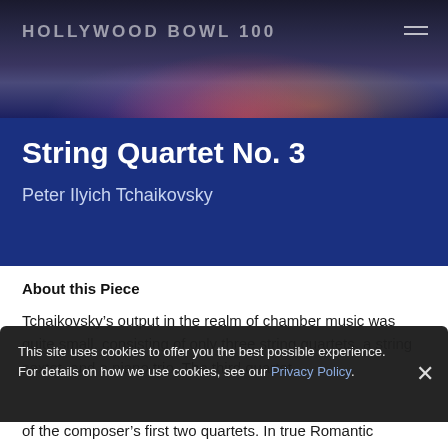HOLLYWOOD BOWL 100
String Quartet No. 3
Peter Ilyich Tchaikovsky
About this Piece
Tchaikovsky’s output in the realm of chamber music was quite small, consisting of only three string quartets, a string sextet, and a piano trio. The third quartet,
This site uses cookies to offer you the best possible experience. For details on how we use cookies, see our Privacy Policy.
of the composer’s first two quartets. In true Romantic